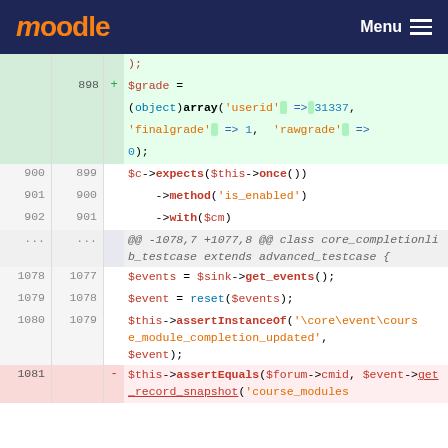moodle  Menu
[Figure (screenshot): Code diff view showing PHP code changes in a Moodle test file. Added lines (green) show $grade = (object)array('userid' => 31337, 'finalgrade' => 1, 'rawgrade' => 0); Lines 900-902 show $c->expects($this->once())->method('is_enabled')->with($cm). Hunk header @@ -1078,7 +1077,8 @@ class core_completionlib_testcase extends advanced_testcase {. Lines 1078-1080 show $events = $sink->get_events(); $event = reset($events); $this->assertInstanceOf('\core\event\course_module_completion_updated', $event);. Line 1081 (removed) shows $this->assertEquals($forum->cmid, $event->get_record_snapshot('course_modules...]